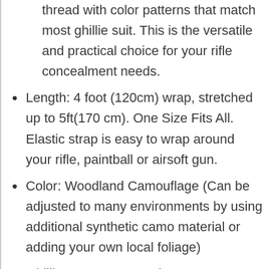thread with color patterns that match most ghillie suit. This is the versatile and practical choice for your rifle concealment needs.
Length: 4 foot (120cm) wrap, stretched up to 5ft(170 cm). One Size Fits All. Elastic strap is easy to wrap around your rifle, paintball or airsoft gun.
Color: Woodland Camouflage (Can be adjusted to many environments by using additional synthetic camo material or adding your own local foliage)
Ghillie Wrap to conceal your gun. Gun wrap can provide a perfect cover for firearms,a must for outdoor hunting and shooting.